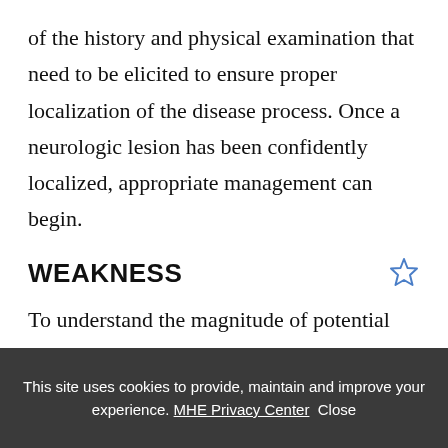of the history and physical examination that need to be elicited to ensure proper localization of the disease process. Once a neurologic lesion has been confidently localized, appropriate management can begin.
WEAKNESS
To understand the magnitude of potential etiologies for weakness, one must have an understanding of the intricate nature of the
This site uses cookies to provide, maintain and improve your experience. MHE Privacy Center Close